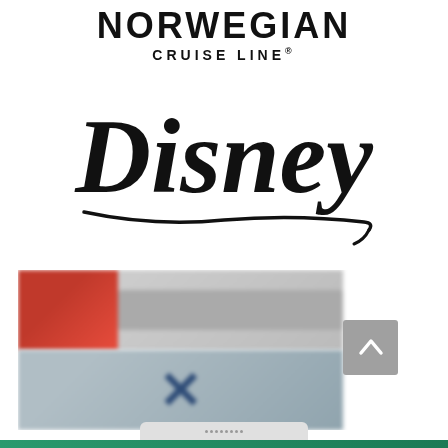[Figure (logo): Norwegian Cruise Line logo with 'NORWEGIAN' in bold black uppercase letters and 'CRUISE LINE®' below in smaller spaced capitals]
[Figure (logo): Disney script logo in black cursive lettering with underline flourish]
[Figure (screenshot): Blurred screenshot showing two partially visible logos on a mobile device screen - one appears red/grey (top) and one appears blue (bottom, resembling Celebrity Cruises X logo)]